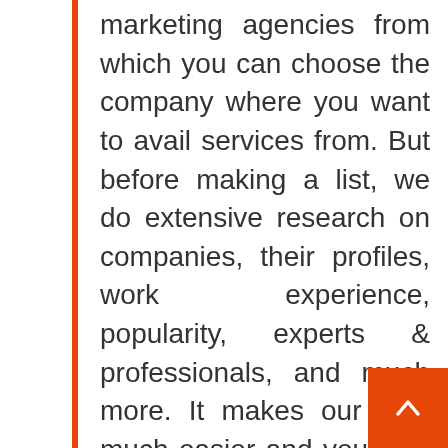marketing agencies from which you can choose the company where you want to avail services from. But before making a list, we do extensive research on companies, their profiles, work experience, popularity, experts & professionals, and much more. It makes our task much easier and you also find it easy to pick up the company that is reliable and suitable for you. We know that how difficult it is for people to select the one company for their business, and Citiesagencies understands this and makes your much simpler and effective by proving